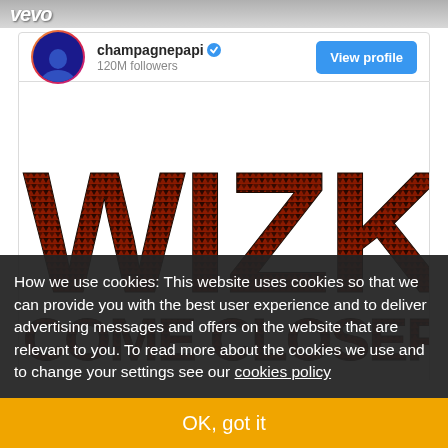[Figure (screenshot): Top banner with vevo logo against grey/dark background]
[Figure (screenshot): Instagram profile widget showing champagnepapi with 120M followers and View profile button]
[Figure (photo): Post image showing the word WIZKID in large stylized letters with African pattern texture on dark background, with partial text below]
How we use cookies: This website uses cookies so that we can provide you with the best user experience and to deliver advertising messages and offers on the website that are relevant to you. To read more about the cookies we use and to change your settings see our cookies policy
OK, got it